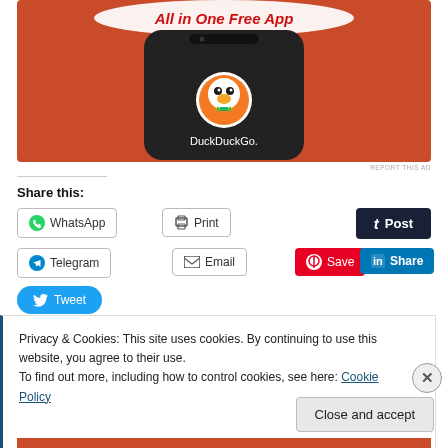[Figure (photo): DuckDuckGo advertisement banner showing a smartphone mockup with DuckDuckGo logo and 'All in One Free App' text on an orange background]
REPORT THIS AD
Share this:
WhatsApp
Print
Post
Telegram
Email
Save
Share
Tweet
Privacy & Cookies: This site uses cookies. By continuing to use this website, you agree to their use.
To find out more, including how to control cookies, see here: Cookie Policy
Close and accept